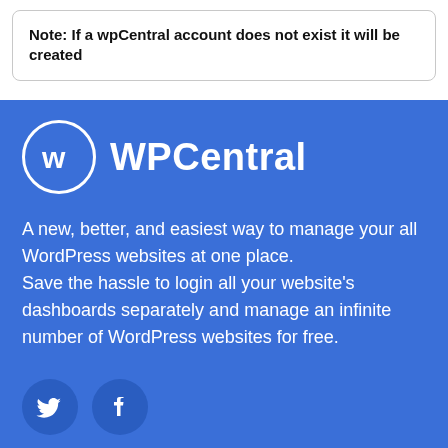Note: If a wpCentral account does not exist it will be created
[Figure (logo): WPCentral logo with circular W icon and WPCentral text in white on blue background]
A new, better, and easiest way to manage your all WordPress websites at one place. Save the hassle to login all your website's dashboards separately and manage an infinite number of WordPress websites for free.
[Figure (illustration): Twitter and Facebook social media icon circles in white on blue background]
About
About us